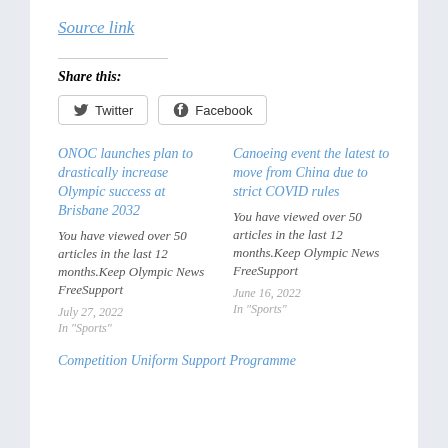Source link
Share this:
Twitter  Facebook
ONOC launches plan to drastically increase Olympic success at Brisbane 2032
You have viewed over 50 articles in the last 12 months.Keep Olympic News FreeSupport
July 27, 2022
In "Sports"
Canoeing event the latest to move from China due to strict COVID rules
You have viewed over 50 articles in the last 12 months.Keep Olympic News FreeSupport
June 16, 2022
In "Sports"
Competition Uniform Support Programme